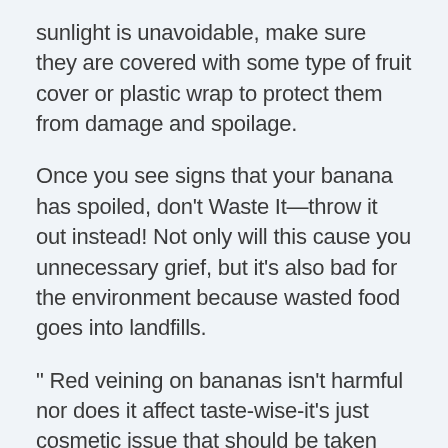sunlight is unavoidable, make sure they are covered with some type of fruit cover or plastic wrap to protect them from damage and spoilage.
Once you see signs that your banana has spoiled, don't Waste It—throw it out instead! Not only will this cause you unnecessary grief, but it's also bad for the environment because wasted food goes into landfills.
" Red veining on bananas isn't harmful nor does it affect taste-wise-it's just cosmetic issue that should be taken care of as soon as possible to avoid any further issues down the road. “Keep your bananas stored